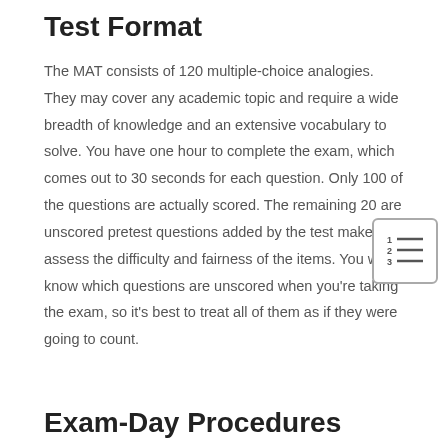Test Format
The MAT consists of 120 multiple-choice analogies. They may cover any academic topic and require a wide breadth of knowledge and an extensive vocabulary to solve. You have one hour to complete the exam, which comes out to 30 seconds for each question. Only 100 of the questions are actually scored. The remaining 20 are unscored pretest questions added by the test makers to assess the difficulty and fairness of the items. You won't know which questions are unscored when you're taking the exam, so it's best to treat all of them as if they were going to count.
[Figure (illustration): Icon showing a numbered list with three items]
Exam-Day Procedures